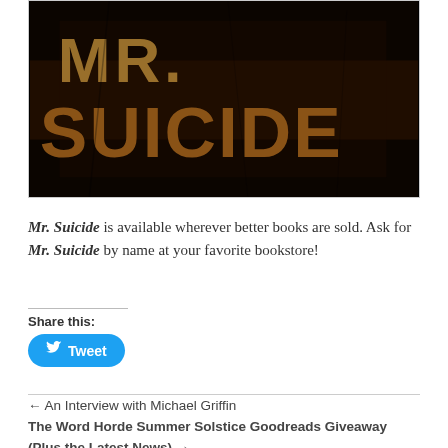[Figure (illustration): Book cover image showing large distressed gold/rust colored text reading 'MR. SUICIDE' on a dark/black background]
Mr. Suicide is available wherever better books are sold. Ask for Mr. Suicide by name at your favorite bookstore!
Share this:
Tweet
← An Interview with Michael Griffin
The Word Horde Summer Solstice Goodreads Giveaway (Plus the Latest News) →